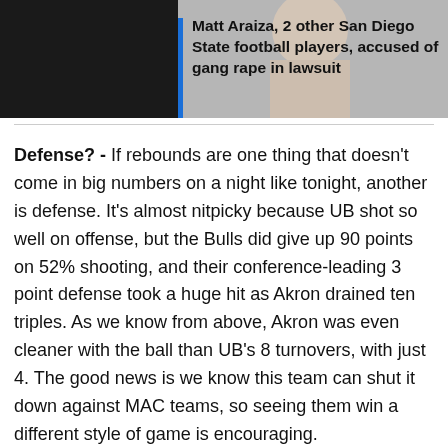[Figure (photo): Partial photo of a person cropped at the top of the page with dark overlay on the left side]
Matt Araiza, 2 other San Diego State football players, accused of gang rape in lawsuit
Defense? - If rebounds are one thing that doesn't come in big numbers on a night like tonight, another is defense. It's almost nitpicky because UB shot so well on offense, but the Bulls did give up 90 points on 52% shooting, and their conference-leading 3 point defense took a huge hit as Akron drained ten triples. As we know from above, Akron was even cleaner with the ball than UB's 8 turnovers, with just 4. The good news is we know this team can shut it down against MAC teams, so seeing them win a different style of game is encouraging.